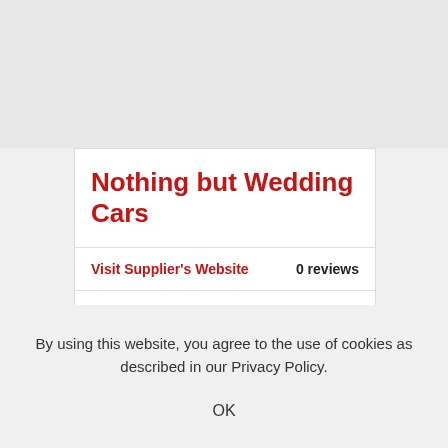Nothing but Wedding Cars
Visit Supplier's Website
0 reviews
Regional finalist at the TWIA 2020 (The Wedding Industry Awards) as THE BEST WEDDING TRANSPORT SUPPLIER 2020...
By using this website, you agree to the use of cookies as described in our Privacy Policy.
OK